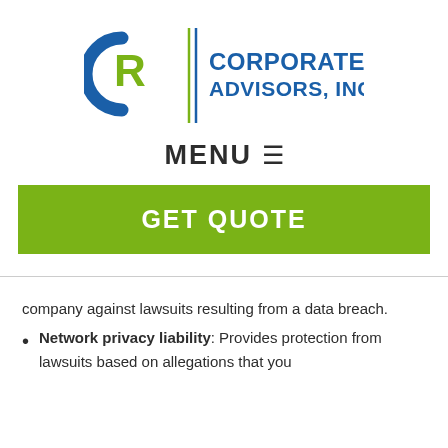[Figure (logo): Corporate Risk Advisors, Inc. logo with stylized CR letters in blue/green and text]
MENU ≡
GET QUOTE
company against lawsuits resulting from a data breach.
Network privacy liability: Provides protection from lawsuits based on allegations that you